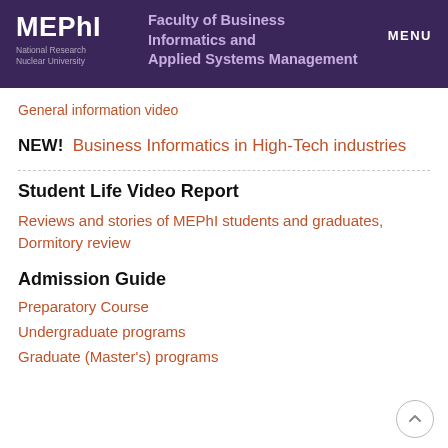MEPhI National Research Nuclear University | Faculty of Business Informatics and Applied Systems Management | MENU
General information video
NEW!  Business Informatics in High-Tech industries
Student Life Video Report
Reviews and stories of MEPhI students and graduates, Dormitory review
Admission Guide
Preparatory Course
Undergraduate programs
Graduate (Master's) programs